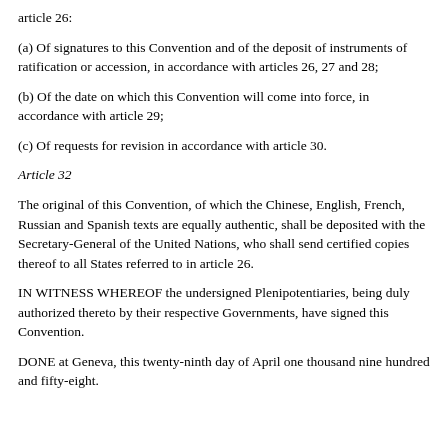article 26:
(a) Of signatures to this Convention and of the deposit of instruments of ratification or accession, in accordance with articles 26, 27 and 28;
(b) Of the date on which this Convention will come into force, in accordance with article 29;
(c) Of requests for revision in accordance with article 30.
Article 32
The original of this Convention, of which the Chinese, English, French, Russian and Spanish texts are equally authentic, shall be deposited with the Secretary-General of the United Nations, who shall send certified copies thereof to all States referred to in article 26.
IN WITNESS WHEREOF the undersigned Plenipotentiaries, being duly authorized thereto by their respective Governments, have signed this Convention.
DONE at Geneva, this twenty-ninth day of April one thousand nine hundred and fifty-eight.